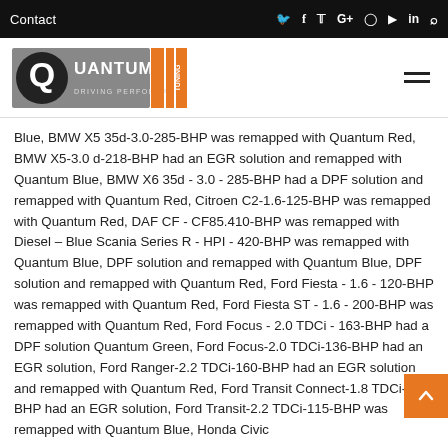Contact
[Figure (logo): Quantum Tuning - Driving Performance logo with orange and black design]
Blue, BMW X5 35d-3.0-285-BHP was remapped with Quantum Red, BMW X5-3.0 d-218-BHP had an EGR solution and remapped with Quantum Blue, BMW X6 35d - 3.0 - 285-BHP had a DPF solution and remapped with Quantum Red, Citroen C2-1.6-125-BHP was remapped with Quantum Red, DAF CF - CF85.410-BHP was remapped with Diesel – Blue Scania Series R - HPI - 420-BHP was remapped with Quantum Blue, DPF solution and remapped with Quantum Blue, DPF solution and remapped with Quantum Red, Ford Fiesta - 1.6 - 120-BHP was remapped with Quantum Red, Ford Fiesta ST - 1.6 - 200-BHP was remapped with Quantum Red, Ford Focus - 2.0 TDCi - 163-BHP had a DPF solution Quantum Green, Ford Focus-2.0 TDCi-136-BHP had an EGR solution, Ford Ranger-2.2 TDCi-160-BHP had an EGR solution and remapped with Quantum Red, Ford Transit Connect-1.8 TDCi-110-BHP had an EGR solution, Ford Transit-2.2 TDCi-115-BHP was remapped with Quantum Blue, Honda Civic